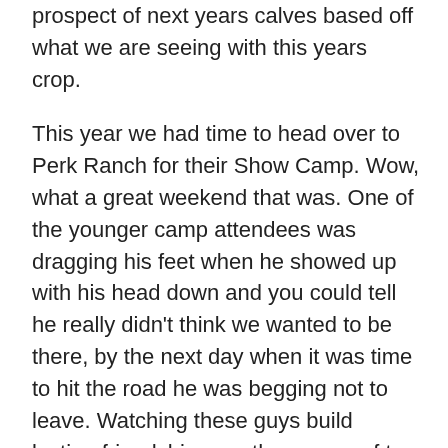prospect of next years calves based off what we are seeing with this years crop.
This year we had time to head over to Perk Ranch for their Show Camp. Wow, what a great weekend that was. One of the younger camp attendees was dragging his feet when he showed up with his head down and you could tell he really didn't think we wanted to be there, by the next day when it was time to hit the road he was begging not to leave. Watching these guys build lasting friendship over the course of two quick days is something really special. If those young men and ladies learned half of what I did that weekend they are well on their way to being successful. There were many things covered that I already knew and had forgotten as well as some that I didn't have a clue on. Tom and Tammy did a great job putting it together and I hope we can be involved for years